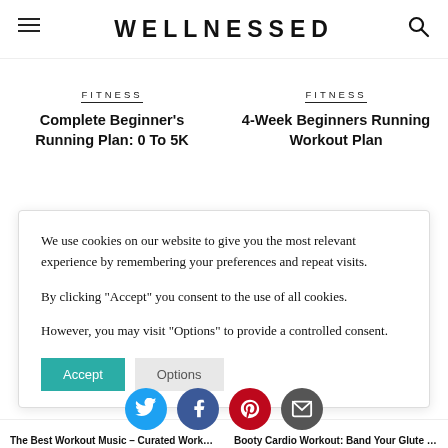WELLNESSED
FITNESS
Complete Beginner’s Running Plan: 0 To 5K
FITNESS
4-Week Beginners Running Workout Plan
We use cookies on our website to give you the most relevant experience by remembering your preferences and repeat visits.

By clicking "Accept" you consent to the use of all cookies.

However, you may visit "Options" to provide a controlled consent.
The Best Workout Music – ...
Booty Cardio Workout: Band Your Glute With Small...